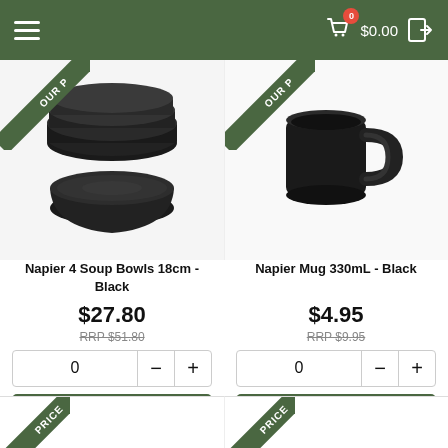Menu | Cart $0.00 | Login
[Figure (photo): Stack of black ceramic soup bowls (Napier 4 Soup Bowls 18cm - Black) with OUR PRICE ribbon banner]
Napier 4 Soup Bowls 18cm - Black
$27.80
RRP $51.80
[Figure (photo): Black ceramic mug (Napier Mug 330mL - Black) with OUR PRICE ribbon banner]
Napier Mug 330mL - Black
$4.95
RRP $9.95